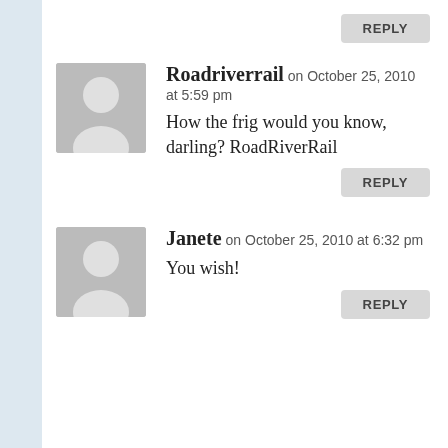[Figure (other): Reply button at top right]
[Figure (other): Avatar placeholder for Roadriverrail comment]
Roadriverrail on October 25, 2010 at 5:59 pm
How the frig would you know, darling? RoadRiverRail
[Figure (other): Reply button for Roadriverrail comment]
[Figure (other): Avatar placeholder for Janete comment]
Janete on October 25, 2010 at 6:32 pm
You wish!
[Figure (other): Reply button for Janete comment]